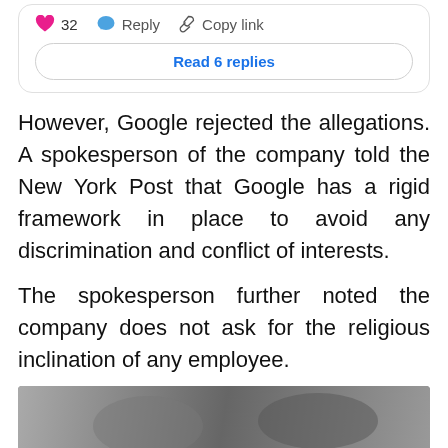[Figure (screenshot): Social media post action bar showing heart icon with count 32, Reply button, and Copy link button, plus a 'Read 6 replies' button below]
However, Google rejected the allegations. A spokesperson of the company told the New York Post that Google has a rigid framework in place to avoid any discrimination and conflict of interests.
The spokesperson further noted the company does not ask for the religious inclination of any employee.
[Figure (photo): Partial photograph visible at the bottom of the page, appears to show people in a grey-toned image]